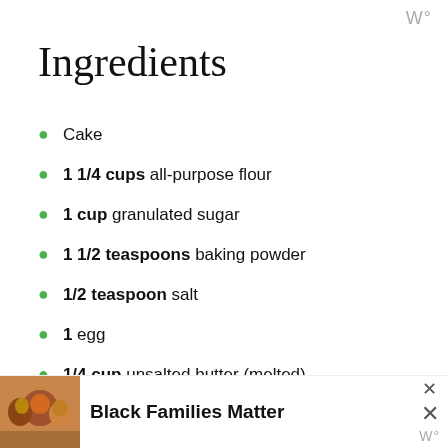W°
Ingredients
Cake
1 1/4 cups all-purpose flour
1 cup granulated sugar
1 1/2 teaspoons baking powder
1/2 teaspoon salt
1 egg
1/4 cup unsalted butter (melted)
1 tablespoon freshly grated lemon zest
3/4 cup buttermilk (you can make your own:
[Figure (photo): Advertisement banner showing a family photo and the text 'Black Families Matter' with a close button]